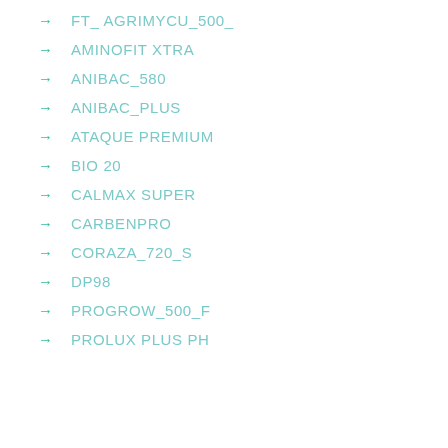FT_ AGRIMYCU_500_
AMINOFIT XTRA
ANIBAC_580
ANIBAC_PLUS
ATAQUE PREMIUM
BIO 20
CALMAX SUPER
CARBENPRO
CORAZA_720_S
DP98
PROGROW_500_F
PROLUX PLUS PH